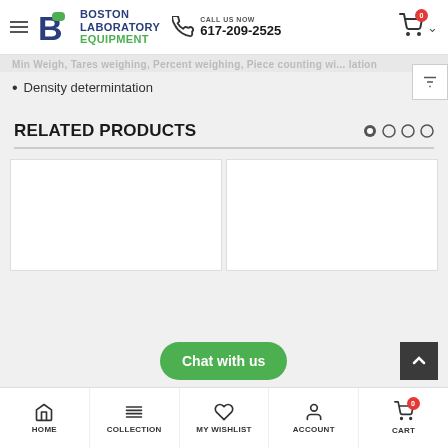[Figure (logo): Boston Laboratory Equipment logo with hamburger menu, phone icon, call us now text, phone number 617-209-2525, and shopping cart with 0 badge]
Min Weigh, Tares weighing, Percent weighing, Piece counting wi... lation
Density determintation
RELATED PRODUCTS
[Figure (screenshot): Two white product card placeholders side by side]
[Figure (other): Chat with us green button]
HOME   COLLECTION   MY WISHLIST   ACCOUNT   CART